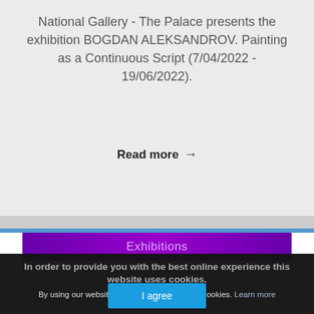National Gallery - The Palace presents the exhibition BOGDAN ALEKSANDROV. Painting as a Continuous Script (7/04/2022 - 19/06/2022).
Read more →
Exhibitions
In order to provide you with the best online experience this website uses cookies.
By using our website, you agree to our use of cookies. Learn more
I agree